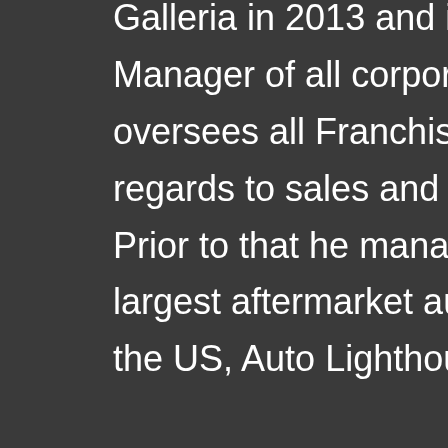Galleria in 2013 and is now the District Manager of all corporate stores. He also oversees all Franchise stores with regards to sales and technical support. Prior to that he managed the second largest aftermarket auto parts retailer in the US, Auto Lighthouse.

Chris is a graduate of the University of Texas at Arlington where he received his Bachelors of Business Administration degree in Management including Latin Honors. In his spare time Chris is a...